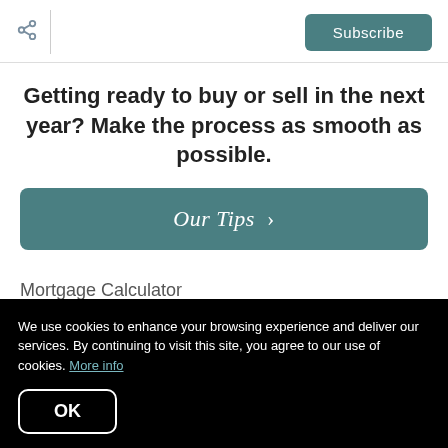Share | Subscribe
Getting ready to buy or sell in the next year? Make the process as smooth as possible.
Our Tips >
Mortgage Calculator
Sold Gallery
We use cookies to enhance your browsing experience and deliver our services. By continuing to visit this site, you agree to our use of cookies. More info
OK